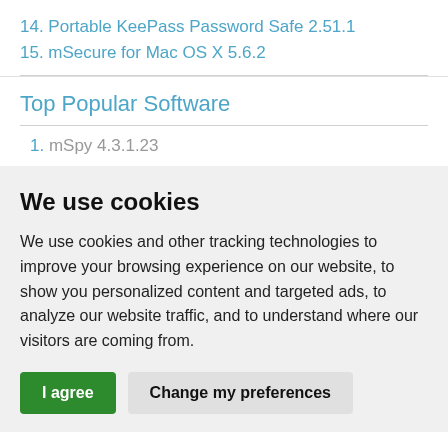14. Portable KeePass Password Safe 2.51.1
15. mSecure for Mac OS X 5.6.2
Top Popular Software
1. mSpy 4.3.1.23
We use cookies
We use cookies and other tracking technologies to improve your browsing experience on our website, to show you personalized content and targeted ads, to analyze our website traffic, and to understand where our visitors are coming from.
I agree  Change my preferences